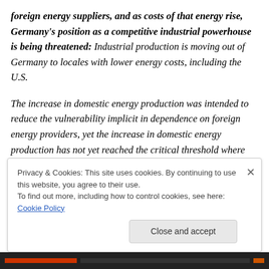foreign energy suppliers, and as costs of that energy rise, Germany's position as a competitive industrial powerhouse is being threatened: Industrial production is moving out of Germany to locales with lower energy costs, including the U.S.
The increase in domestic energy production was intended to reduce the vulnerability implicit in dependence on foreign energy providers, yet the increase in domestic energy production has not yet reached the critical threshold where vulnerability to price shocks has been
Privacy & Cookies: This site uses cookies. By continuing to use this website, you agree to their use.
To find out more, including how to control cookies, see here: Cookie Policy